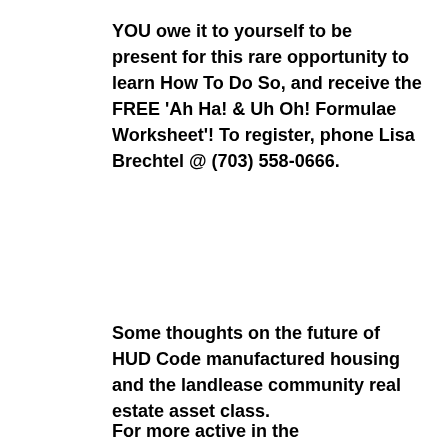YOU owe it to yourself to be present for this rare opportunity to learn How To Do So, and receive the FREE 'Ah Ha! & Uh Oh! Formulae Worksheet'! To register, phone Lisa Brechtel @ (703) 558-0666.
Some thoughts on the future of HUD Code manufactured housing and the landlease community real estate asset class.
For more active in the